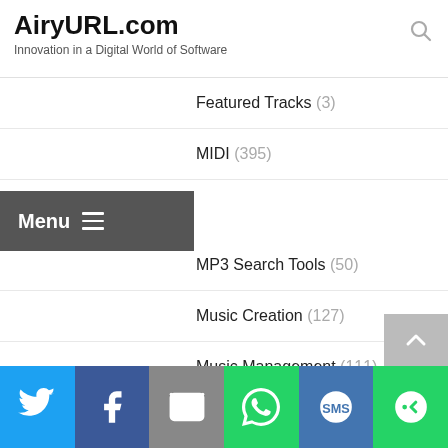AiryURL.com — Innovation in a Digital World of Software
Featured Tracks (3)
MIDI (395)
MP3 Search Tools (50)
Music Creation (127)
Music Management (111)
Players (24)
Rippers & Encoders (560)